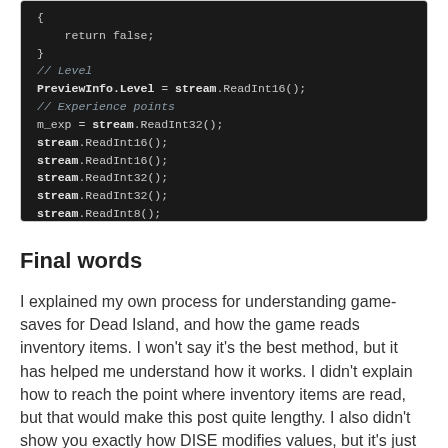[Figure (screenshot): Dark-themed code editor screenshot showing C++ code with curly braces, return false statement, commented lines for Level and Experience points, and multiple stream.ReadInt calls (ReadInt16, ReadInt32, ReadInt8)]
Final words
I explained my own process for understanding game-saves for Dead Island, and how the game reads inventory items. I won't say it's the best method, but it has helped me understand how it works. I didn't explain how to reach the point where inventory items are read, but that would make this post quite lengthy. I also didn't show you exactly how DISE modifies values, but it's just a matter of reversing the read process to make it write the values instead.